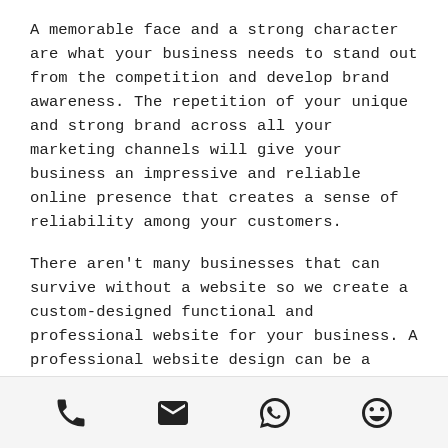A memorable face and a strong character are what your business needs to stand out from the competition and develop brand awareness. The repetition of your unique and strong brand across all your marketing channels will give your business an impressive and reliable online presence that creates a sense of reliability among your customers.
There aren't many businesses that can survive without a website so we create a custom-designed functional and professional website for your business. A professional website design can be a highly effective marketing tool
[Figure (infographic): Bottom navigation bar with four icons: phone, email, WhatsApp, and smiley face]